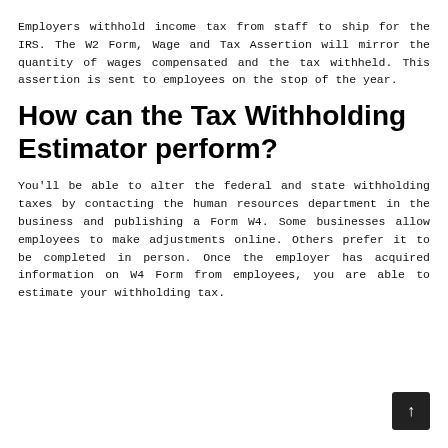Employers withhold income tax from staff to ship for the IRS. The W2 Form, Wage and Tax Assertion will mirror the quantity of wages compensated and the tax withheld. This assertion is sent to employees on the stop of the year.
How can the Tax Withholding Estimator perform?
You'll be able to alter the federal and state withholding taxes by contacting the human resources department in the business and publishing a Form W4. Some businesses allow employees to make adjustments online. Others prefer it to be completed in person. Once the employer has acquired information on W4 Form from employees, you are able to estimate your withholding tax.